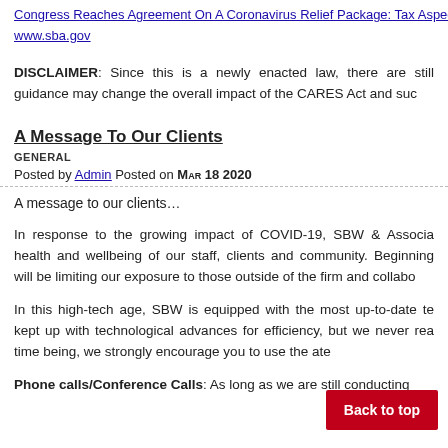Congress Reaches Agreement On A Coronavirus Relief Package: Tax Aspects Of T
www.sba.gov
DISCLAIMER: Since this is a newly enacted law, there are still guidance may change the overall impact of the CARES Act and suc
A Message To Our Clients
GENERAL
Posted by Admin Posted on Mar 18 2020
A message to our clients…
In response to the growing impact of COVID-19, SBW & Associa health and wellbeing of our staff, clients and community. Beginning will be limiting our exposure to those outside of the firm and collabo
In this high-tech age, SBW is equipped with the most up-to-date te kept up with technological advances for efficiency, but we never rea time being, we strongly encourage you to use the ate
Phone calls/Conference Calls: As long as we are still conducting